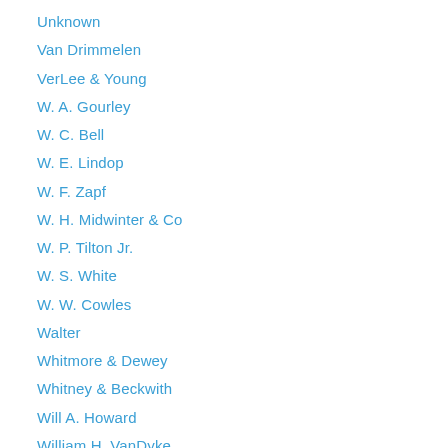Unknown
Van Drimmelen
VerLee & Young
W. A. Gourley
W. C. Bell
W. E. Lindop
W. F. Zapf
W. H. Midwinter & Co
W. P. Tilton Jr.
W. S. White
W. W. Cowles
Walter
Whitmore & Dewey
Whitney & Beckwith
Will A. Howard
William H. VanDyke
William Wollensak
Wishart
Wm Meyer & Son
Y. A. Kroneberger